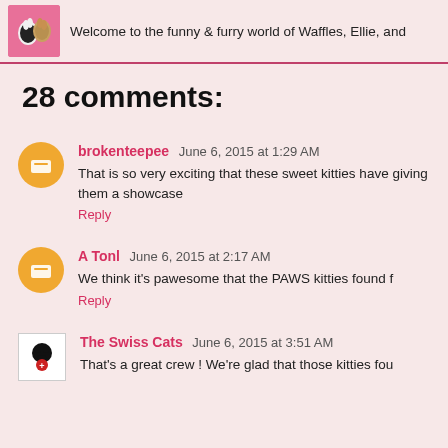Welcome to the funny & furry world of Waffles, Ellie, and...
28 comments:
brokenteepee June 6, 2015 at 1:29 AM
That is so very exciting that these sweet kitties have... giving them a showcase
Reply
A Tonl June 6, 2015 at 2:17 AM
We think it's pawesome that the PAWS kitties found f...
Reply
The Swiss Cats June 6, 2015 at 3:51 AM
That's a great crew ! We're glad that those kitties fou...